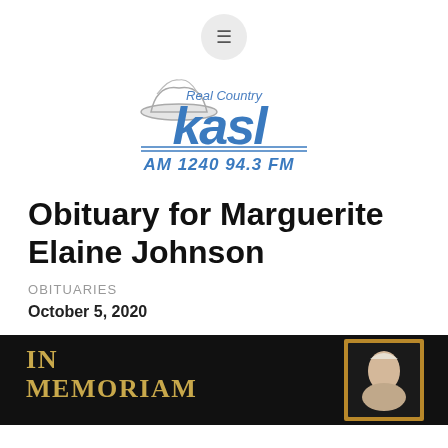[Figure (logo): KASL Real Country AM 1240 94.3 FM radio station logo with cowboy hat graphic and blue stylized text]
Obituary for Marguerite Elaine Johnson
OBITUARIES
October 5, 2020
[Figure (photo): In Memoriam photo panel with black background showing gold text 'IN MEMORIAM' on the left and a portrait of an elderly woman in a gold frame on the right]